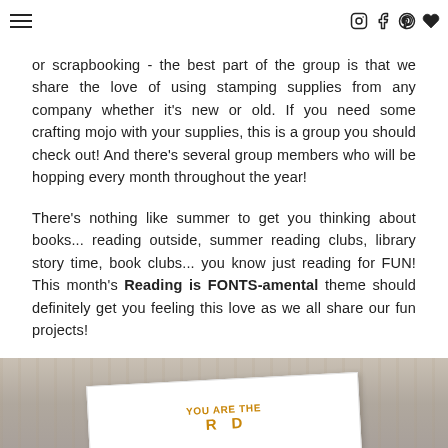≡ [Instagram] [Facebook] [Pinterest] [heart]
or scrapbooking - the best part of the group is that we share the love of using stamping supplies from any company whether it's new or old. If you need some crafting mojo with your supplies, this is a group you should check out! And there's several group members who will be hopping every month throughout the year!
There's nothing like summer to get you thinking about books... reading outside, summer reading clubs, library story time, book clubs... you know just reading for FUN! This month's Reading is FONTS-amental theme should definitely get you feeling this love as we all share our fun projects!
[Figure (photo): Photo of a handmade card on a wooden surface. The card appears to have gold/yellow text that reads 'YOU ARE THE' with decorative elements, partially visible.]